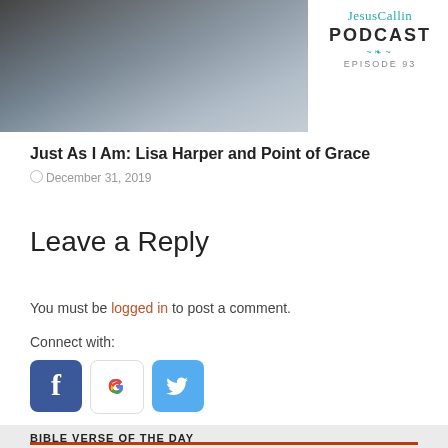[Figure (photo): Partial photo of a person in a white ribbed sweater, cropped, with a podcast logo overlay in the top right]
Just As I Am: Lisa Harper and Point of Grace
December 31, 2019
Leave a Reply
You must be logged in to post a comment.
Connect with:
[Figure (other): Social media login icons: Facebook (blue f), Google (colorful G), Twitter (blue bird)]
BIBLE VERSE OF THE DAY